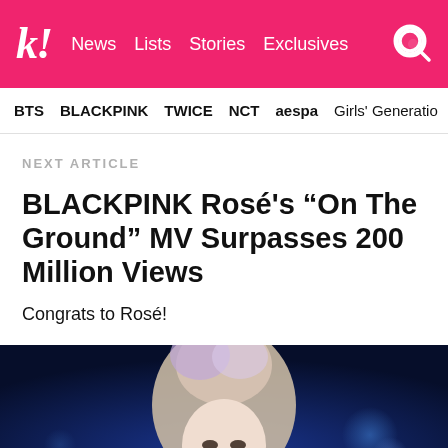k! News Lists Stories Exclusives
BTS BLACKPINK TWICE NCT aespa Girls' Generation
NEXT ARTICLE
BLACKPINK Rosé's “On The Ground” MV Surpasses 200 Million Views
Congrats to Rosé!
[Figure (photo): Photo of BLACKPINK Rosé with lavender/blonde hair against a dark blue stage background with bokeh lights]